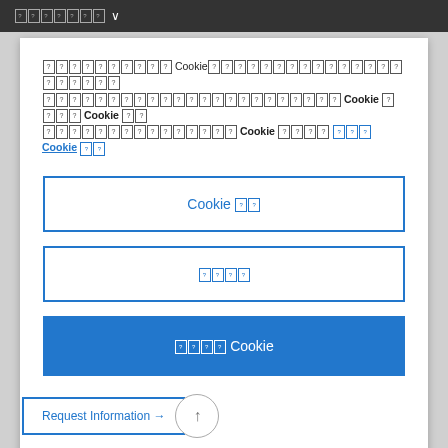??????? ∨
??????? ?????? Cookie ???????????????????????????????? ??????????????????????? Cookie ???? Cookie ?? ????????????? Cookie ??? ??? ??? Cookie ??
Cookie ??
????
???? Cookie
Request Information →